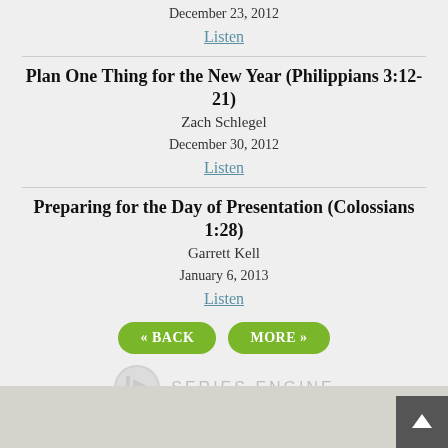December 23, 2012
Listen
Plan One Thing for the New Year (Philippians 3:12-21)
Zach Schlegel
December 30, 2012
Listen
Preparing for the Day of Presentation (Colossians 1:28)
Garrett Kell
January 6, 2013
Listen
« BACK   MORE »
[Figure (logo): Series Engine logo with play button icon and uppercase text SERIES ENGINE]
Footer bar with scroll-to-top button